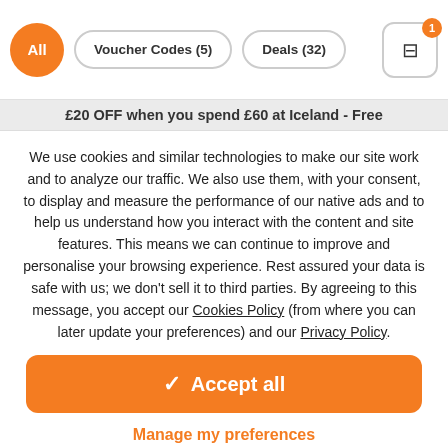All | Voucher Codes (5) | Deals (32)
£20 OFF when you spend £60 at Iceland - Free
We use cookies and similar technologies to make our site work and to analyze our traffic. We also use them, with your consent, to display and measure the performance of our native ads and to help us understand how you interact with the content and site features. This means we can continue to improve and personalise your browsing experience. Rest assured your data is safe with us; we don't sell it to third parties. By agreeing to this message, you accept our Cookies Policy (from where you can later update your preferences) and our Privacy Policy.
✓ Accept all
Manage my preferences
Continue without accepting